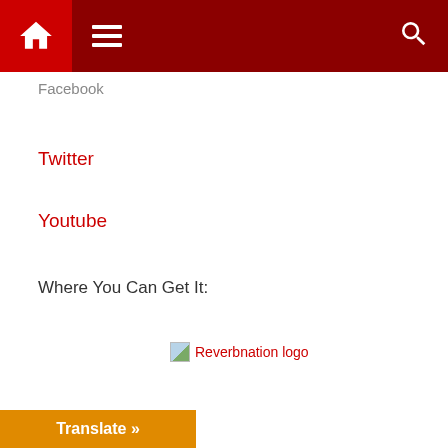Navigation bar with home, menu, and search icons
Facebook
Twitter
Youtube
Where You Can Get It:
[Figure (logo): Reverbnation logo image (broken image placeholder shown)]
Share this:
Facebook  Twitter  Reddit  LinkedIn  Tumblr
Translate »